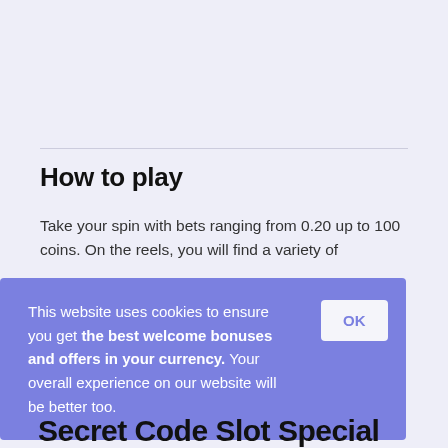How to play
Take your spin with bets ranging from 0.20 up to 100 coins. On the reels, you will find a variety of mysterious symbols including two characters in the game. On each spin, you would have to find matches of these symbols across reels and different paylines across the reel.
This website uses cookies to ensure you get the best welcome bonuses and offers in your currency. Your overall experience on our website will be better too.
Secret Code Slot Special